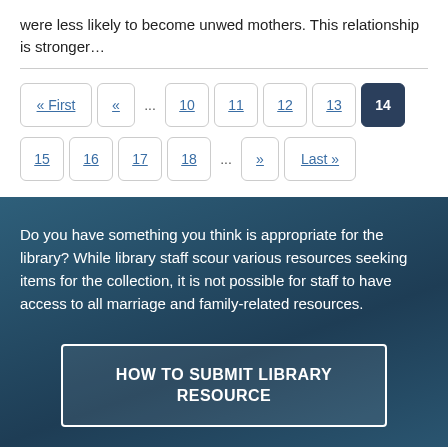were less likely to become unwed mothers. This relationship is stronger…
« First  «  ...  10  11  12  13  14  15  16  17  18  ...  »  Last »
Do you have something you think is appropriate for the library? While library staff scour various resources seeking items for the collection, it is not possible for staff to have access to all marriage and family-related resources.
HOW TO SUBMIT LIBRARY RESOURCE